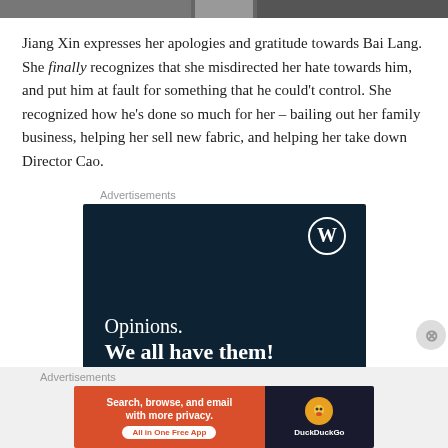[Figure (photo): Partial image strip at top of page showing cropped photos]
Jiang Xin expresses her apologies and gratitude towards Bai Lang. She finally recognizes that she misdirected her hate towards him, and put him at fault for something that he could't control. She recognized how he's done so much for her – bailing out her family business, helping her sell new fabric, and helping her take down Director Cao.
Advertisements
[Figure (screenshot): WordPress advertisement with dark navy background showing WordPress logo and text: Opinions. We all have them!]
Advertisements
[Figure (screenshot): DuckDuckGo advertisement: Search, browse, and email with more privacy. All in One Free App. Orange left section, dark right section with DuckDuckGo logo.]